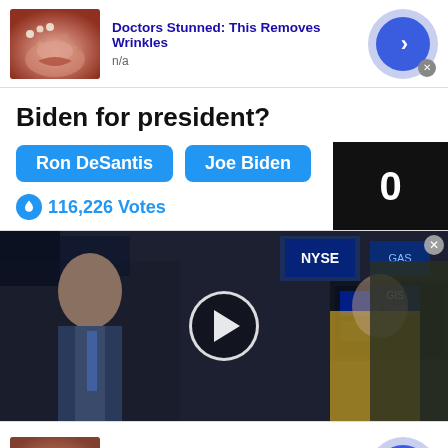[Figure (screenshot): Advertisement banner with thumbnail image of close-up skin/lips, title 'Doctors Stunned: This Removes Wrinkles', subtitle 'n/a', and a blue arrow button with close X]
Biden for president?
Ron DeSantis   Joe Biden
116,226 Votes
[Figure (screenshot): Video player thumbnail showing NYSE trading floor scene with two people, play button in center, and black overlay box with number 0]
[Figure (screenshot): Advertisement banner with thumbnail image of close-up skin, title 'Doctors Stunned: This Removes Wrinkles', subtitle 'n/a', and a blue arrow button]